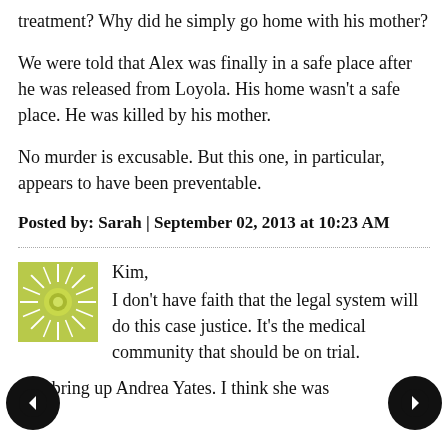treatment? Why did he simply go home with his mother?
We were told that Alex was finally in a safe place after he was released from Loyola. His home wasn't a safe place. He was killed by his mother.
No murder is excusable. But this one, in particular, appears to have been preventable.
Posted by: Sarah | September 02, 2013 at 10:23 AM
[Figure (illustration): Circular sunburst avatar icon with yellow-green rays on white background]
Kim,
I don't have faith that the legal system will do this case justice. It's the medical community that should be on trial.
You bring up Andrea Yates. I think she was